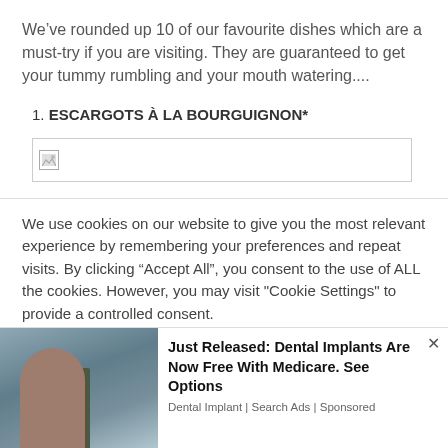We’ve rounded up 10 of our favourite dishes which are a must-try if you are visiting. They are guaranteed to get your tummy rumbling and your mouth watering....
1. ESCARGOTS À LA BOURGUIGNON*
[Figure (photo): Broken image placeholder box]
We use cookies on our website to give you the most relevant experience by remembering your preferences and repeat visits. By clicking “Accept All”, you consent to the use of ALL the cookies. However, you may visit "Cookie Settings" to provide a controlled consent.
[Figure (photo): Advertisement banner: Just Released: Dental Implants Are Now Free With Medicare. See Options — Dental Implant | Search Ads | Sponsored]